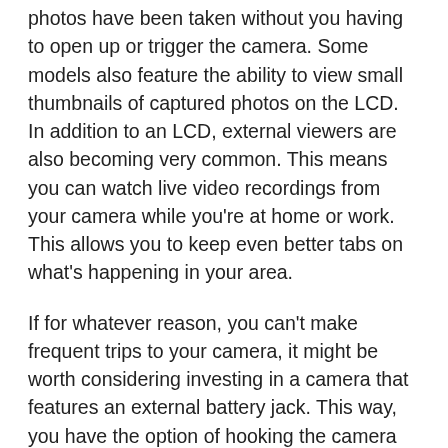photos have been taken without you having to open up or trigger the camera. Some models also feature the ability to view small thumbnails of captured photos on the LCD. In addition to an LCD, external viewers are also becoming very common. This means you can watch live video recordings from your camera while you're at home or work. This allows you to keep even better tabs on what's happening in your area.
If for whatever reason, you can't make frequent trips to your camera, it might be worth considering investing in a camera that features an external battery jack. This way, you have the option of hooking the camera up to a 12-volt for an extended battery life. Another alternative is to plug the camera into a solar charger, and the camera can pretty much run indefinitely without a battery change. This would work well for those cameras that also feature the ability to...